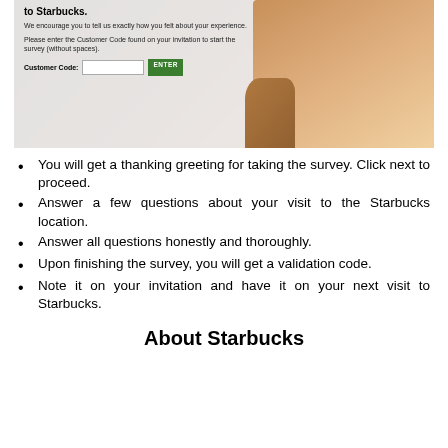[Figure (screenshot): Screenshot of a Starbucks customer survey website showing a welcome message 'to Starbucks.', encouragement text, instructions to enter a Customer Code, an input field, and a green ENTER button, with a photo of coffee/hands in the background.]
You will get a thanking greeting for taking the survey. Click next to proceed.
Answer a few questions about your visit to the Starbucks location.
Answer all questions honestly and thoroughly.
Upon finishing the survey, you will get a validation code.
Note it on your invitation and have it on your next visit to Starbucks.
About Starbucks